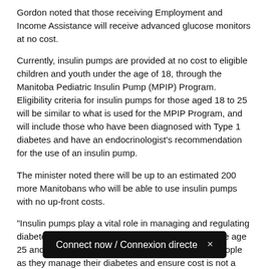Gordon noted that those receiving Employment and Income Assistance will receive advanced glucose monitors at no cost.
Currently, insulin pumps are provided at no cost to eligible children and youth under the age of 18, through the Manitoba Pediatric Insulin Pump (MPIP) Program. Eligibility criteria for insulin pumps for those aged 18 to 25 will be similar to what is used for the MPIP Program, and will include those who have been diagnosed with Type 1 diabetes and have an endocrinologist's recommendation for the use of an insulin pump.
The minister noted there will be up to an estimated 200 more Manitobans who will be able to use insulin pumps with no up-front costs.
“Insulin pumps play a vital role in managing and regulating diabetes,” said Gordon. “Expanding services to those age 25 and under will allow us to support more young people as they manage their diabetes and ensure cost is not a barrier to accessing services.”
Clients will not be deductible before they can receive an insulin pump. The
Connect now / Connexion directe